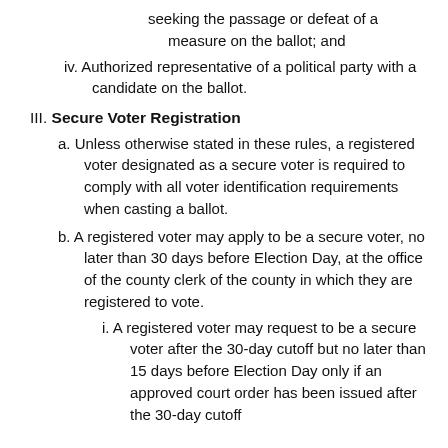seeking the passage or defeat of a measure on the ballot; and
iv. Authorized representative of a political party with a candidate on the ballot.
III. Secure Voter Registration
a. Unless otherwise stated in these rules, a registered voter designated as a secure voter is required to comply with all voter identification requirements when casting a ballot.
b. A registered voter may apply to be a secure voter, no later than 30 days before Election Day, at the office of the county clerk of the county in which they are registered to vote.
i. A registered voter may request to be a secure voter after the 30-day cutoff but no later than 15 days before Election Day only if an approved court order has been issued after the 30-day cutoff